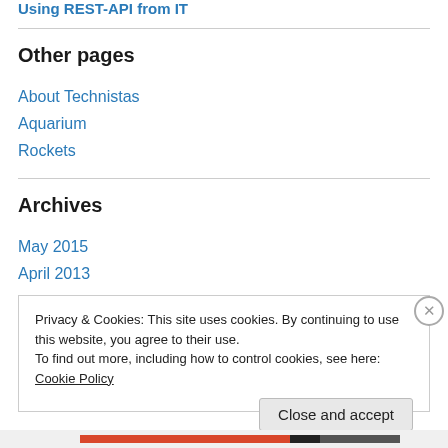Using REST-API from IT
Other pages
About Technistas
Aquarium
Rockets
Archives
May 2015
April 2013
Privacy & Cookies: This site uses cookies. By continuing to use this website, you agree to their use.
To find out more, including how to control cookies, see here: Cookie Policy
Close and accept